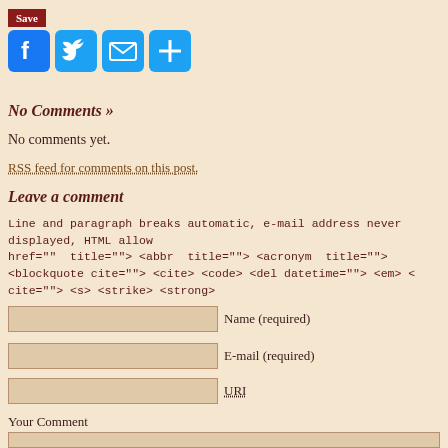Save
[Figure (other): Social sharing icons: Facebook, Twitter, Email, and a plus/more button]
No Comments »
No comments yet.
RSS feed for comments on this post.
Leave a comment
Line and paragraph breaks automatic, e-mail address never displayed, HTML allowed: <a href="" title=""> <abbr title=""> <acronym title=""> <blockquote cite=""> <cite> <code> <del datetime=""> <em> <q cite=""> <s> <strike> <strong>
Name (required)
E-mail (required)
URI
Your Comment